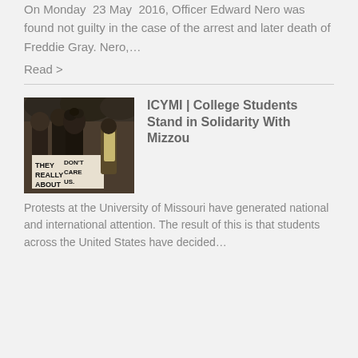On Monday 23 May 2016, Officer Edward Nero was found not guilty in the case of the arrest and later death of Freddie Gray. Nero,…
Read >
[Figure (photo): Black and white photo of college students at a protest, holding signs that read 'THEY REALLY ABOUT' and 'DON'T CARE US.']
ICYMI | College Students Stand in Solidarity With Mizzou
Protests at the University of Missouri have generated national and international attention. The result of this is that students across the United States have decided…